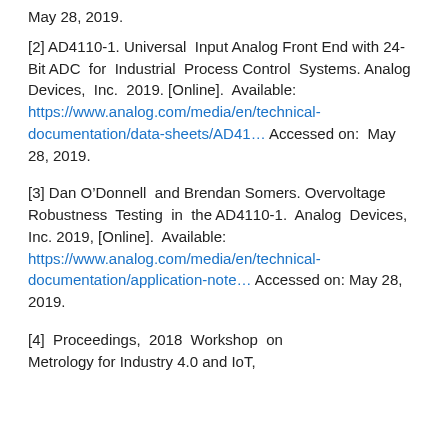May 28, 2019.
[2] AD4110-1. Universal Input Analog Front End with 24-Bit ADC for Industrial Process Control Systems. Analog Devices, Inc. 2019. [Online]. Available: https://www.analog.com/media/en/technical-documentation/data-sheets/AD41... Accessed on: May 28, 2019.
[3] Dan O’Donnell and Brendan Somers. Overvoltage Robustness Testing in the AD4110-1. Analog Devices, Inc. 2019, [Online]. Available: https://www.analog.com/media/en/technical-documentation/application-note... Accessed on: May 28, 2019.
[4] Proceedings, 2018 Workshop on Metrology for Industry 4.0 and IoT,